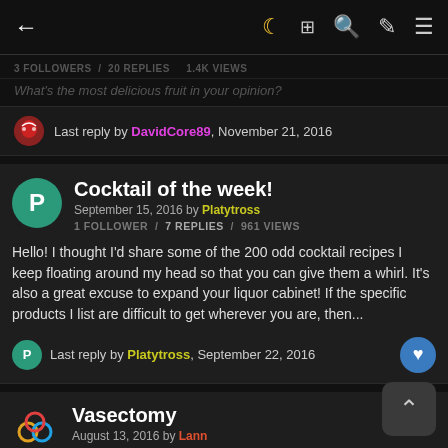← [navigation bar with moon, grid, search, brush, menu icons]
3 FOLLOWERS / 20 REPLIES / 1.4K VIEWS
What's the most delicious fruit in your opinion?
Last reply by DavidCore89, November 21, 2016
Cocktail of the week!
September 15, 2016 by Platytross
1 FOLLOWER / 7 REPLIES / 961 VIEWS
Hello! I thought I'd share some of the 200 odd cocktail recipes I keep floating around my head so that you can give them a whirl. It's also a great excuse to expand your liquor cabinet! If the specific products I list are difficult to get wherever you are, then...
Last reply by Platytross, September 22, 2016
Vasectomy
August 13, 2016 by Lann
1 FOLLOWER / 11 REPLIES / 1.1K VIEWS
Any experience on the subject?